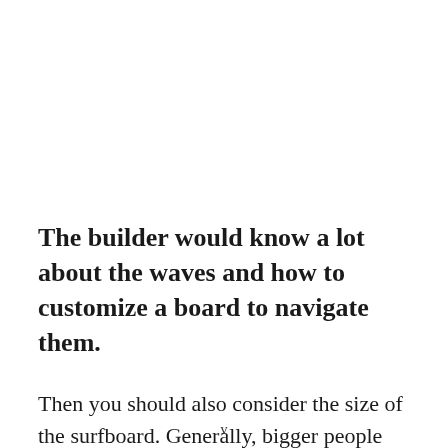The builder would know a lot about the waves and how to customize a board to navigate them.
Then you should also consider the size of the surfboard. Generally, bigger people need longer, wider, and thicker boards. The size of the board
v